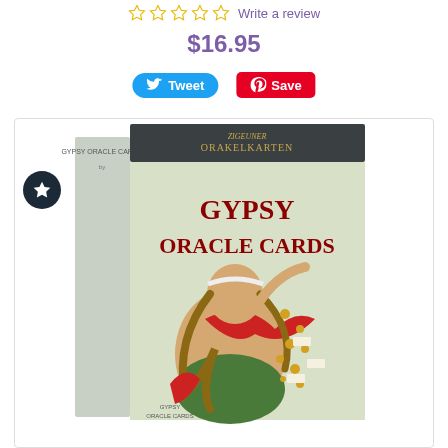☆☆☆☆☆ Write a review
$16.95
[Figure (screenshot): Tweet and Save (Pinterest) social sharing buttons]
[Figure (photo): Product photo of Gypsy Oracle Cards box showing front cover with illustrated gypsy woman figure and title text 'GYPSY ORACLE CARDS'. Box has dark top and light green front. Side shows 'GYPSY ORACLE CARDS' text. A dark circular wishlist button with star icon appears on the left side.]